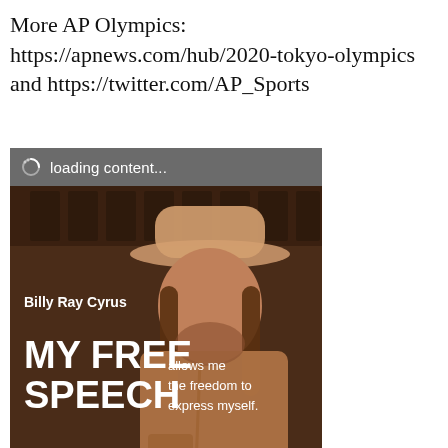More AP Olympics: https://apnews.com/hub/2020-tokyo-olympics and https://twitter.com/AP_Sports
[Figure (photo): Advertisement showing Billy Ray Cyrus in a cowboy hat with text 'MY FREE SPEECH allows me the freedom to express myself. Learn more.' with a loading content bar at the top.]